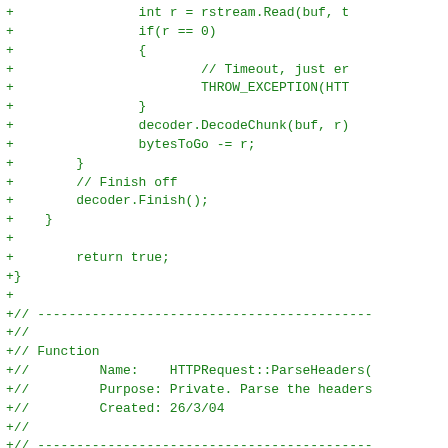[Figure (screenshot): Code diff screenshot showing C++ source code with green '+' prefixed lines, displaying HTTP request parsing functions including DecodeChunk, Finish, return true, and ParseHeaders function definition with local variables.]